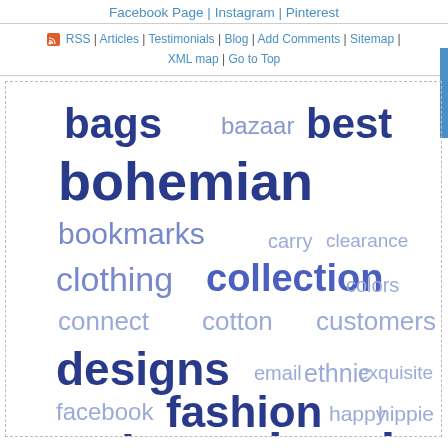Facebook Page | Instagram | Pinterest
RSS | Articles | Testimonials | Blog | Add Comments | Sitemap | XML map | Go to Top
[Figure (infographic): Tag cloud with words of varying sizes in shades of blue and purple: bags, bazaar, best, bohemian, bookmarks, carry, clearance, clothing, collection, colors, connect, cotton, customers, designs, email, ethnic, exquisite, facebook, fashion, happy, hippie, inspired, item, jewelry, latest]